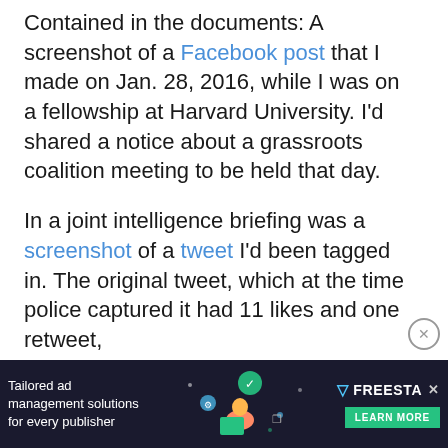Contained in the documents: A screenshot of a Facebook post that I made on Jan. 28, 2016, while I was on a fellowship at Harvard University. I'd shared a notice about a grassroots coalition meeting to be held that day.
In a joint intelligence briefing was a screenshot of a tweet I'd been tagged in. The original tweet, which at the time police captured it had 11 likes and one retweet,
[Figure (screenshot): Advertisement banner: dark background with text 'Tailored ad management solutions for every publisher', decorative illustration of person with tech icons, and FREESTA logo with LEARN MORE button and X close icon]